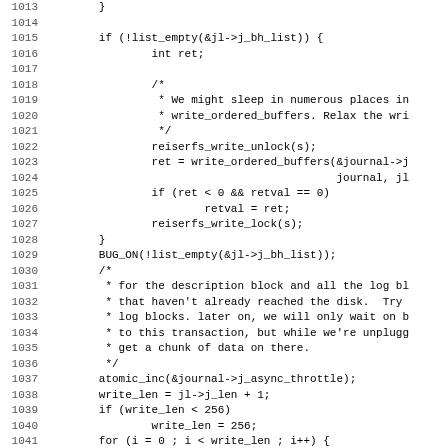Source code listing lines 1013-1044 (C kernel code with line numbers)